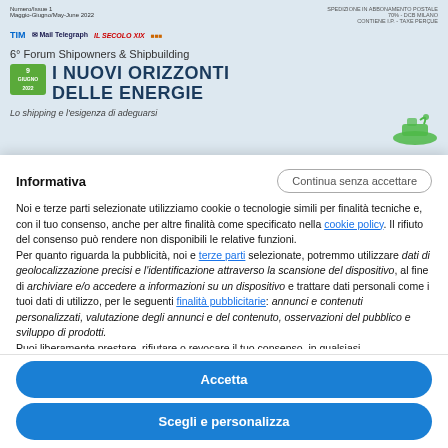[Figure (screenshot): Screenshot of a magazine page showing '6° Forum Shipowners & Shipbuilding - I NUOVI ORIZZONTI DELLE ENERGIE - Lo shipping e l'esigenza di adeguarsi' with logos of TIM, Mail Telegraph, Il Secolo XIX, and another publication, dated 9 with green date box, on a light blue background.]
Informativa
Noi e terze parti selezionate utilizziamo cookie o tecnologie simili per finalità tecniche e, con il tuo consenso, anche per altre finalità come specificato nella cookie policy. Il rifiuto del consenso può rendere non disponibili le relative funzioni.
Per quanto riguarda la pubblicità, noi e terze parti selezionate, potremmo utilizzare dati di geolocalizzazione precisi e l'identificazione attraverso la scansione del dispositivo, al fine di archiviare e/o accedere a informazioni su un dispositivo e trattare dati personali come i tuoi dati di utilizzo, per le seguenti finalità pubblicitarie: annunci e contenuti personalizzati, valutazione degli annunci e del contenuto, osservazioni del pubblico e sviluppo di prodotti.
Puoi liberamente prestare, rifiutare o revocare il tuo consenso, in qualsiasi
Accetta
Scegli e personalizza